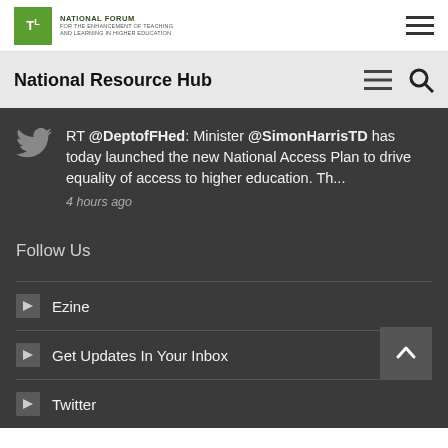T&L National Forum for the Enhancement of Teaching and Learning in Higher Education
National Resource Hub
RT @DeptofFHed: Minister @SimonHarrisTD has today launched the new National Access Plan to drive equality of access to higher education. Th...
4 hours ago
Follow Us
Ezine
Get Updates In Your Inbox
Twitter